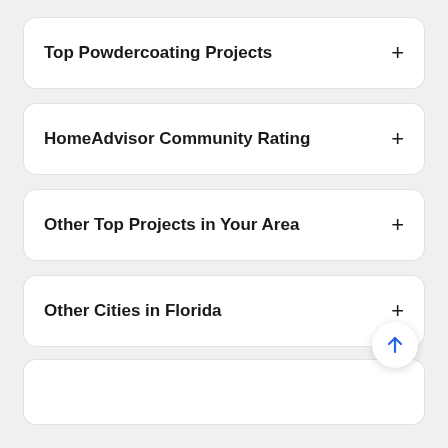Top Powdercoating Projects
HomeAdvisor Community Rating
Other Top Projects in Your Area
Other Cities in Florida